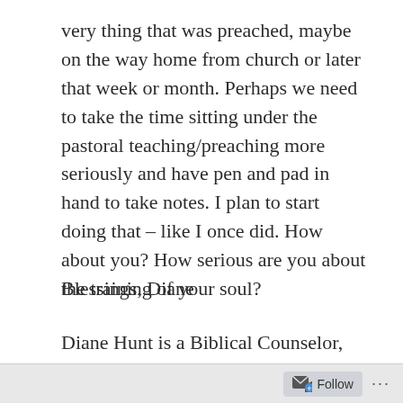very thing that was preached, maybe on the way home from church or later that week or month. Perhaps we need to take the time sitting under the pastoral teaching/preaching more seriously and have pen and pad in hand to take notes. I plan to start doing that – like I once did. How about you? How serious are you about the training of your soul?
Blessings, Diane
Diane Hunt is a Biblical Counselor, Women's conference and retreat speaker and author. She serves as the Director of Partner Care and Director of Women's Ministries at America's Keswick. She
Follow